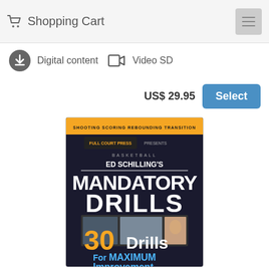Shopping Cart
Digital content  Video SD
US$ 29.95  Select
[Figure (photo): Book/DVD cover: Ed Schilling's Mandatory Drills — 30 Drills For Maximum Improvement, basketball instructional video]